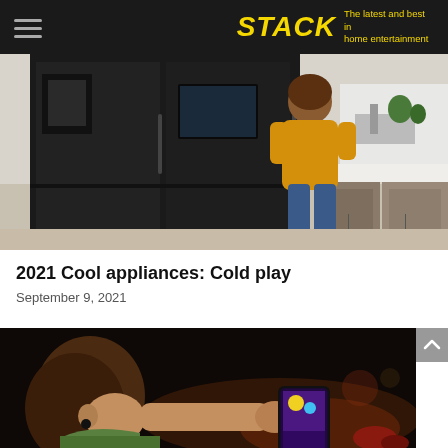STACK — The latest and best in home entertainment
[Figure (photo): Woman in yellow sweater and jeans standing in front of a large black side-by-side refrigerator with smart screen panel, in a modern white kitchen]
2021 Cool appliances: Cold play
September 9, 2021
[Figure (photo): Young person holding up a smartphone displaying colorful game content, shot in a dark setting with warm background lighting]